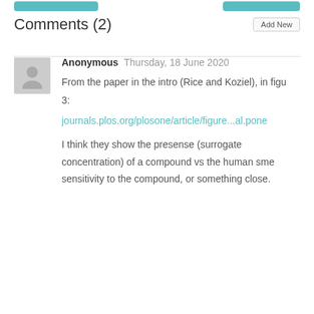Comments (2)
Anonymous Thursday, 18 June 2020
From the paper in the intro (Rice and Koziel), in figure 3:
journals.plos.org/plosone/article/figure...al.pone
I think they show the presense (surrogate concentration) of a compound vs the human sme sensitivity to the compound, or something close.